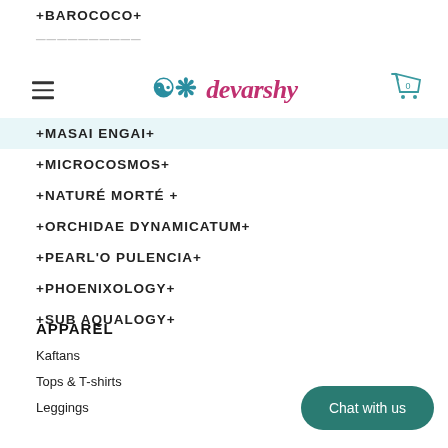+BAROCOCO+
+CLEOPATRA+
[Figure (logo): Devarshy brand logo with decorative XO symbol and stylized text]
+MASAI ENGAI+
+MICROCOSMOS+
+NATURÉ MORTÉ +
+ORCHIDAE DYNAMICATUM+
+PEARL'O PULENCIA+
+PHOENIXOLOGY+
+SUB AQUALOGY+
APPAREL
Kaftans
Tops & T-shirts
Leggings